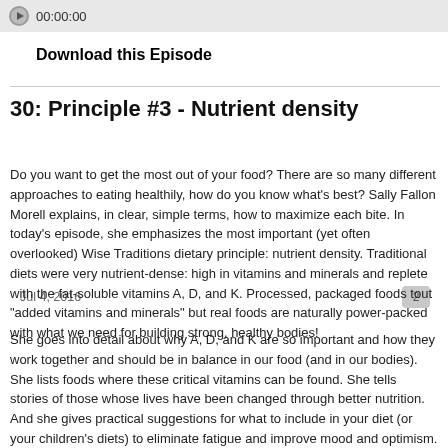[Figure (other): Audio player bar with play button icon and timestamp 00:00:00]
Download this Episode
30: Principle #3 - Nutrient density
Jul 4, 2016
Do you want to get the most out of your food? There are so many different approaches to eating healthily, how do you know what's best? Sally Fallon Morell explains, in clear, simple terms, how to maximize each bite. In today's episode, she emphasizes the most important (yet often overlooked) Wise Traditions dietary principle: nutrient density. Traditional diets were very nutrient-dense: high in vitamins and minerals and replete with the fat-soluble vitamins A, D, and K. Processed, packaged foods tout "added vitamins and minerals" but real foods are naturally power-packed with what we need for building strong, healthy bodies!
She goes into detail about why A, D, and K are so important and how they work together and should be in balance in our food (and in our bodies). She lists foods where these critical vitamins can be found. She tells stories of those whose lives have been changed through better nutrition. And she gives practical suggestions for what to include in your diet (or your children's diets) to eliminate fatigue and improve mood and optimism.